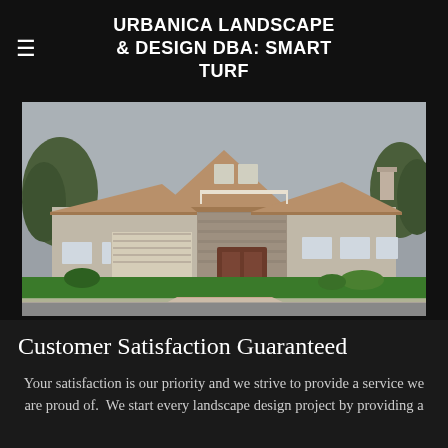URBANICA LANDSCAPE & DESIGN DBA: SMART TURF
[Figure (photo): Exterior photo of a large two-story suburban house with stone facade, tile roof, attached garage, green lawn, and paved driveway.]
Customer Satisfaction Guaranteed
Your satisfaction is our priority and we strive to provide a service we are proud of.  We start every landscape design project by providing a